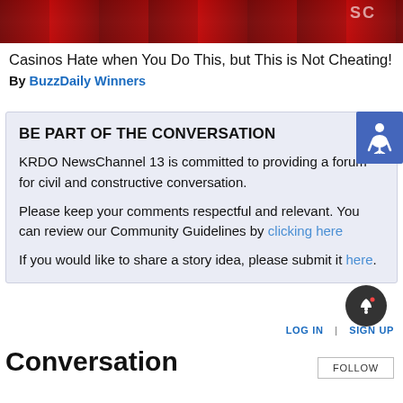[Figure (photo): Top portion of an image showing people in red jerseys/shirts, cropped]
Casinos Hate when You Do This, but This is Not Cheating!
By BuzzDaily Winners
BE PART OF THE CONVERSATION
KRDO NewsChannel 13 is committed to providing a forum for civil and constructive conversation.
Please keep your comments respectful and relevant. You can review our Community Guidelines by clicking here
If you would like to share a story idea, please submit it here.
LOG IN | SIGN UP
Conversation
FOLLOW